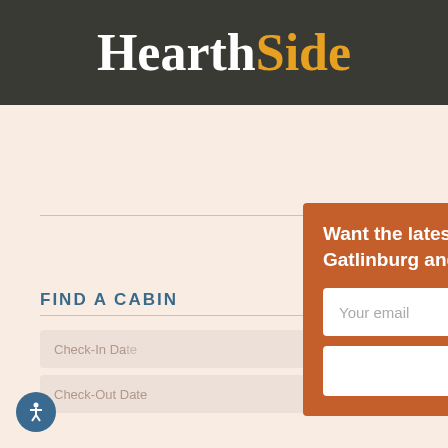HearthSide
FIND A CABIN
Check-In Date
Check-Out Date
Want the latest info on area events and fun things to do in Gatlinburg and Pigeon Forge?
Your email
Send to me!